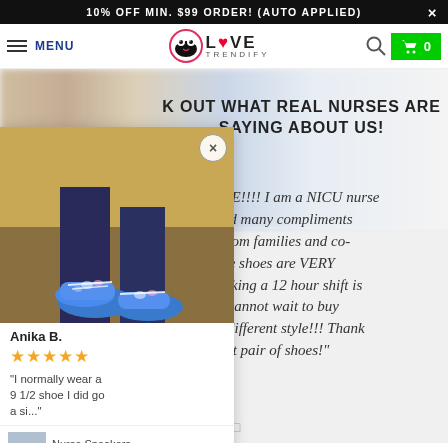10% OFF MIN. $99 ORDER! (AUTO APPLIED)
[Figure (screenshot): Navigation bar with hamburger menu, MENU text, Love Trendify logo (panda icon), search icon, and green cart button showing 0]
[Figure (screenshot): E-commerce product review page showing nurse shoes testimonial with blurred background and a popup review card on the left showing a photo of blue nurse sneakers, reviewer Anika B. with 5 stars, and a product thumbnail]
K OUT WHAT REAL NURSES ARE SAYING ABOUT US!
LOVE LOVE!!!! I am a NICU nurse ave received many compliments ese shoes from families and co- rkers. These shoes are VERY rtable! Working a 12 hour shift is problem. I cannot wait to buy r pair in a different style!!! Thank u for a great pair of shoes!"
Anika B.
"I normally wear a 9 1/2 shoe I did go a si..."
Nurse Sneakers for Wom...
LOOX